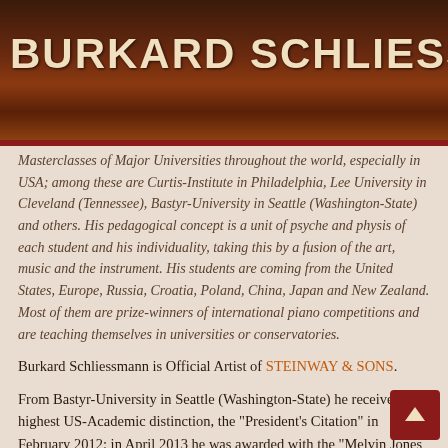BURKARD SCHLIESSMANN
Masterclasses of Major Universities throughout the world, especially in USA; among these are Curtis-Institute in Philadelphia, Lee University in Cleveland (Tennessee), Bastyr-University in Seattle (Washington-State) and others. His pedagogical concept is a unit of psyche and physis of each student and his individuality, taking this by a fusion of the art, music and the instrument. His students are coming from the United States, Europe, Russia, Croatia, Poland, China, Japan and New Zealand. Most of them are prize-winners of international piano competitions and are teaching themselves in universities or conservatories.
Burkard Schliessmann is Official Artist of STEINWAY & SONS.
From Bastyr-University in Seattle (Washington-State) he received the highest US-Academic distinction, the "President's Citation" in February 2012; in April 2013 he was awarded with the "Melvin Jones Fellow Award" from LIONS-International in recognition of his international achievements in the Arts and Culture.
Burkard Schliessmann also is a professional scuba diver and serves as